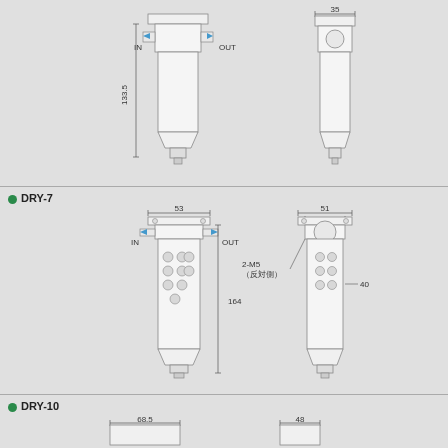[Figure (engineering-diagram): Front and side view engineering drawing of DRY air filter/dryer unit (top section, model not labeled), showing dimensions 133.5mm height, 35mm and 32.5mm width with IN/OUT flow arrows]
DRY-7
[Figure (engineering-diagram): Front and side view engineering drawing of DRY-7 air filter/dryer unit, showing dimensions 53mm width, 164mm height, 51mm total width, 38mm and 40mm side dimensions, with IN/OUT flow arrows and 2-M5 mounting holes notation (反対側)]
DRY-10
[Figure (engineering-diagram): Partial front and side view engineering drawing of DRY-10 air filter/dryer unit, showing dimensions 68.5mm width and 48mm width (partial view, cut off)]